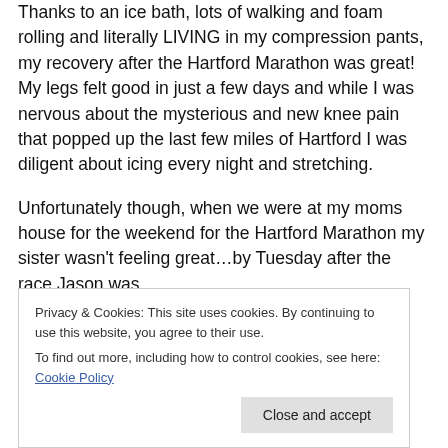Thanks to an ice bath, lots of walking and foam rolling and literally LIVING in my compression pants, my recovery after the Hartford Marathon was great!  My legs felt good in just a few days and while I was nervous about the mysterious and new knee pain that popped up the last few miles of Hartford I was diligent about icing every night and stretching.
Unfortunately though, when we were at my moms house for the weekend for the Hartford Marathon my sister wasn't feeling great…by Tuesday after the race Jason was sneezing, coughing more and by the following Friday…
Privacy & Cookies: This site uses cookies. By continuing to use this website, you agree to their use. To find out more, including how to control cookies, see here: Cookie Policy